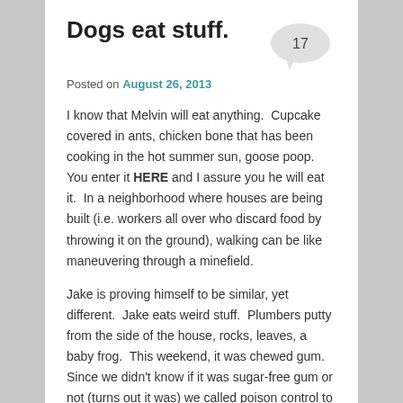Dogs eat stuff.
Posted on August 26, 2013
I know that Melvin will eat anything.  Cupcake covered in ants, chicken bone that has been cooking in the hot summer sun, goose poop.  You enter it HERE and I assure you he will eat it.  In a neighborhood where houses are being built (i.e. workers all over who discard food by throwing it on the ground), walking can be like maneuvering through a minefield.
Jake is proving himself to be similar, yet different.  Jake eats weird stuff.  Plumbers putty from the side of the house, rocks, leaves, a baby frog.  This weekend, it was chewed gum.  Since we didn't know if it was sugar-free gum or not (turns out it was) we called poison control to get advice on what to do.  (For those of you who don't know, sugar-free gum that contains xylitol is toxic to dogs). I gave poison control my phone number and